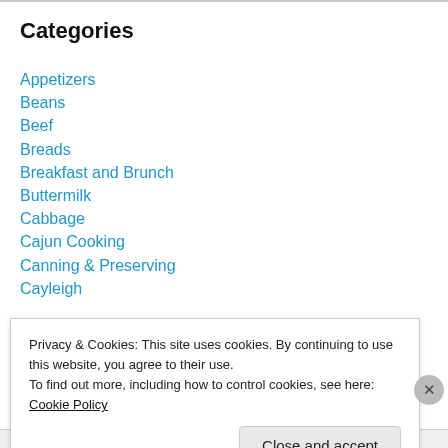Categories
Appetizers
Beans
Beef
Breads
Breakfast and Brunch
Buttermilk
Cabbage
Cajun Cooking
Canning & Preserving
Cayleigh
Privacy & Cookies: This site uses cookies. By continuing to use this website, you agree to their use.
To find out more, including how to control cookies, see here: Cookie Policy
Close and accept